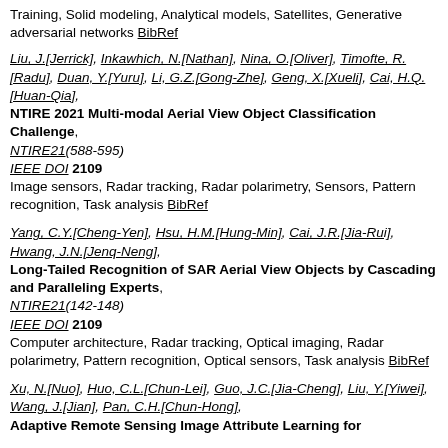Training, Solid modeling, Analytical models, Satellites, Generative adversarial networks BibRef
Liu, J.[Jerrick], Inkawhich, N.[Nathan], Nina, O.[Oliver], Timofte, R.[Radu], Duan, Y.[Yuru], Li, G.Z.[Gong-Zhe], Geng, X.[Xueli], Cai, H.Q.[Huan-Qia], NTIRE 2021 Multi-modal Aerial View Object Classification Challenge, NTIRE21(588-595) IEEE DOI 2109 Image sensors, Radar tracking, Radar polarimetry, Sensors, Pattern recognition, Task analysis BibRef
Yang, C.Y.[Cheng-Yen], Hsu, H.M.[Hung-Min], Cai, J.R.[Jia-Rui], Hwang, J.N.[Jenq-Neng], Long-Tailed Recognition of SAR Aerial View Objects by Cascading and Paralleling Experts, NTIRE21(142-148) IEEE DOI 2109 Computer architecture, Radar tracking, Optical imaging, Radar polarimetry, Pattern recognition, Optical sensors, Task analysis BibRef
Xu, N.[Nuo], Huo, C.L.[Chun-Lei], Guo, J.C.[Jia-Cheng], Liu, Y.[Yiwei], Wang, J.[Jian], Pan, C.H.[Chun-Hong], Adaptive Remote Sensing Image Attribute Learning for